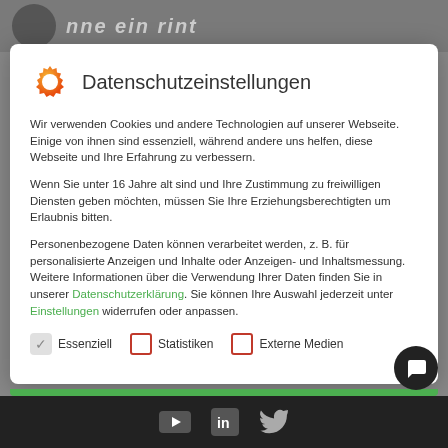Datenschutzeinstellungen
Wir verwenden Cookies und andere Technologien auf unserer Webseite. Einige von ihnen sind essenziell, während andere uns helfen, diese Webseite und Ihre Erfahrung zu verbessern.
Wenn Sie unter 16 Jahre alt sind und Ihre Zustimmung zu freiwilligen Diensten geben möchten, müssen Sie Ihre Erziehungsberechtigten um Erlaubnis bitten.
Personenbezogene Daten können verarbeitet werden, z. B. für personalisierte Anzeigen und Inhalte oder Anzeigen- und Inhaltsmessung. Weitere Informationen über die Verwendung Ihrer Daten finden Sie in unserer Datenschutzerklärung. Sie können Ihre Auswahl jederzeit unter Einstellungen widerrufen oder anpassen.
Essenziell
Statistiken
Externe Medien